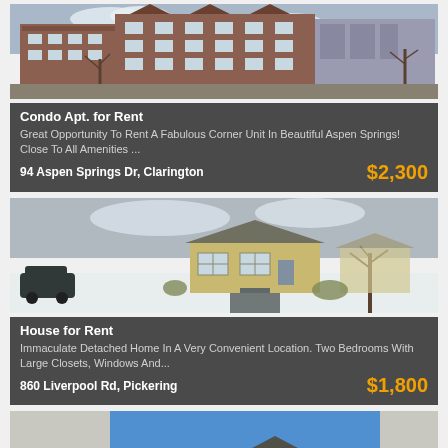[Figure (photo): Condo apartment building exterior, multi-storey brick building with bare winter trees]
Condo Apt. for Rent
Great Opportunity To Rent A Fabulous Corner Unit In Beautiful Aspen Springs! Close To All Amenities ...
94 Aspen Springs Dr, Clarington
$2,300
[Figure (photo): Detached bungalow house for rent, winter scene with light snow on driveway, bare trees]
House for Rent
Immaculate Detached Home In A Very Convenient Location. Two Bedrooms With Large Closets, Windows And...
860 Liverpool Rd, Pickering
$1,800
[Figure (photo): Two-storey house exterior with gabled roof, blue sky background, stone and stucco facade]